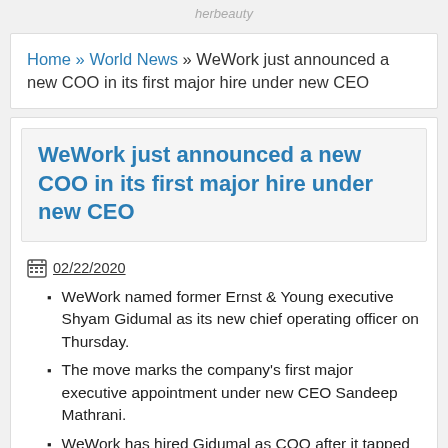herbeauty
Home » World News » WeWork just announced a new COO in its first major hire under new CEO
WeWork just announced a new COO in its first major hire under new CEO
02/22/2020
WeWork named former Ernst & Young executive Shyam Gidumal as its new chief operating officer on Thursday.
The move marks the company's first major executive appointment under new CEO Sandeep Mathrani.
WeWork has hired Gidumal as COO after it tapped its head of international operations for the